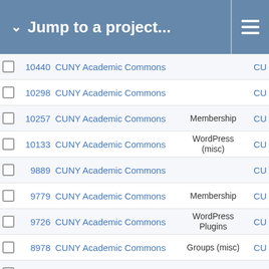Jump to a project...
|  | # | Project | Category | Ver |
| --- | --- | --- | --- | --- |
|  | 10440 | CUNY Academic Commons |  | CU |
|  | 10298 | CUNY Academic Commons |  | CU |
|  | 10257 | CUNY Academic Commons | Membership | CU |
|  | 10133 | CUNY Academic Commons | WordPress (misc) | CU |
|  | 9889 | CUNY Academic Commons |  | CU |
|  | 9779 | CUNY Academic Commons | Membership | CU |
|  | 9726 | CUNY Academic Commons | WordPress Plugins | CU |
|  | 8978 | CUNY Academic Commons | Groups (misc) | CU |
|  | 10657 | CUNY Academic Commons |  | CU |
|  | 10606 | CUNY Academic Commons | cdev.gc.cuny.edu | CU |
|  | 9886 | CUNY Academic Commons | cuny.is | CU |
|  | 10407 | CUNY Academic Commons |  | CU |
|  | 6533 | CUNY Academic Commons | WordPress Plugins | CUN |
|  | 10387 | CUNY Academic Commons | Membership | CU |
|  | 10345 | CUNY Academic Commons | Email | ( |